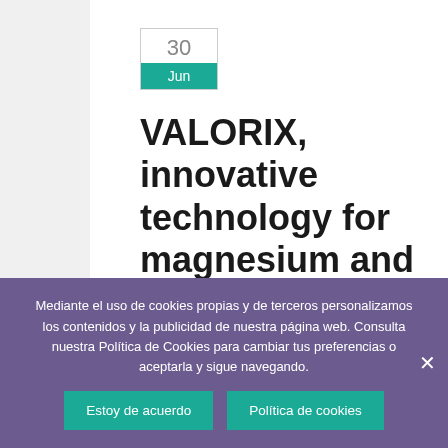30 Jun — VALORIX, innovative technology for magnesium and phosphate recovery
Mediante el uso de cookies propias y de terceros personalizamos los contenidos y la publicidad de nuestra página web. Consulta nuestra Política de Cookies para cambiar tus preferencias o aceptarla y sigue navegando.